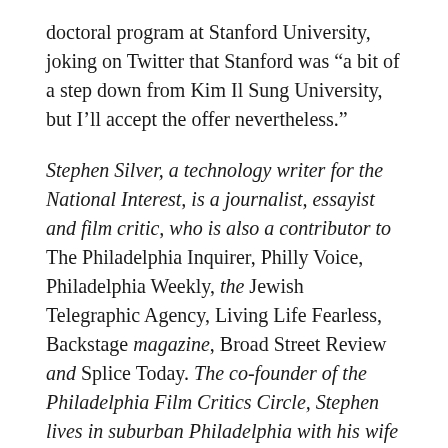doctoral program at Stanford University, joking on Twitter that Stanford was “a bit of a step down from Kim Il Sung University, but I’ll accept the offer nevertheless.”
Stephen Silver, a technology writer for the National Interest, is a journalist, essayist and film critic, who is also a contributor to The Philadelphia Inquirer, Philly Voice, Philadelphia Weekly, the Jewish Telegraphic Agency, Living Life Fearless, Backstage magazine, Broad Street Review and Splice Today. The co-founder of the Philadelphia Film Critics Circle, Stephen lives in suburban Philadelphia with his wife and two sons. Follow him on Twitter at @StephenSilver.